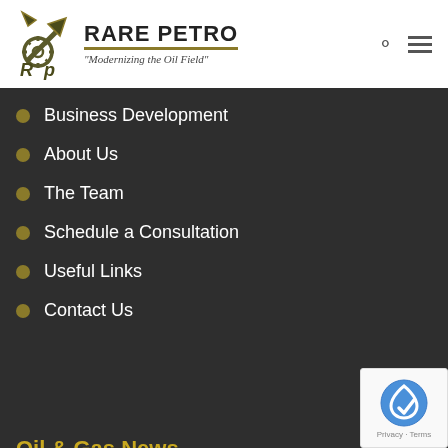[Figure (logo): Rare Petro logo with pickaxe and gear icon, company name 'RARE PETRO' in bold, tagline 'Modernizing the Oil Field' in italic]
Business Development
About Us
The Team
Schedule a Consultation
Useful Links
Contact Us
Oil & Gas News
Basin Reports